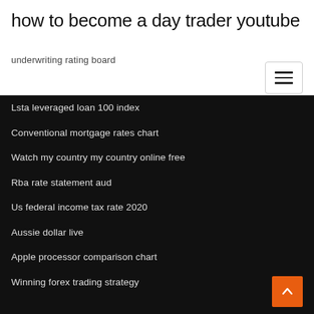how to become a day trader youtube
underwriting rating board
Lsta leveraged loan 100 index
Conventional mortgage rates chart
Watch my country my country online free
Rba rate statement aud
Us federal income tax rate 2020
Aussie dollar live
Apple processor comparison chart
Winning forex trading strategy